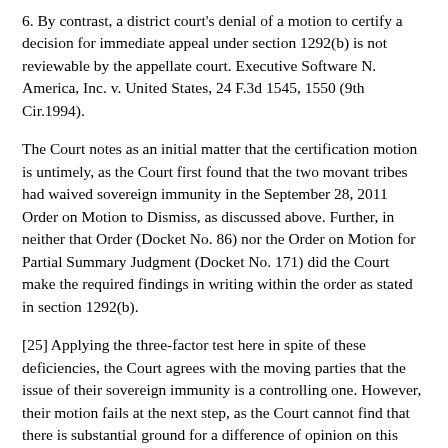6. By contrast, a district court's denial of a motion to certify a decision for immediate appeal under section 1292(b) is not reviewable by the appellate court. Executive Software N. America, Inc. v. United States, 24 F.3d 1545, 1550 (9th Cir.1994).
The Court notes as an initial matter that the certification motion is untimely, as the Court first found that the two movant tribes had waived sovereign immunity in the September 28, 2011 Order on Motion to Dismiss, as discussed above. Further, in neither that Order (Docket No. 86) nor the Order on Motion for Partial Summary Judgment (Docket No. 171) did the Court make the required findings in writing within the order as stated in section 1292(b).
[25] Applying the three-factor test here in spite of these deficiencies, the Court agrees with the moving parties that the issue of their sovereign immunity is a controlling one. However, their motion fails at the next step, as the Court cannot find that there is substantial ground for a difference of opinion on this issue. The *1058 Court stated in the September 28, 2011 Order and